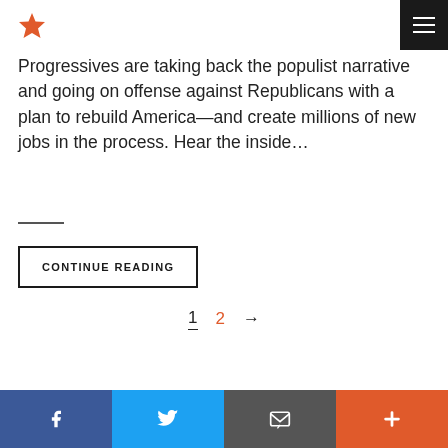★ [menu]
Progressives are taking back the populist narrative and going on offense against Republicans with a plan to rebuild America—and create millions of new jobs in the process. Hear the inside…
CONTINUE READING
1  2  →  [Facebook] [Twitter] [Email] [+]